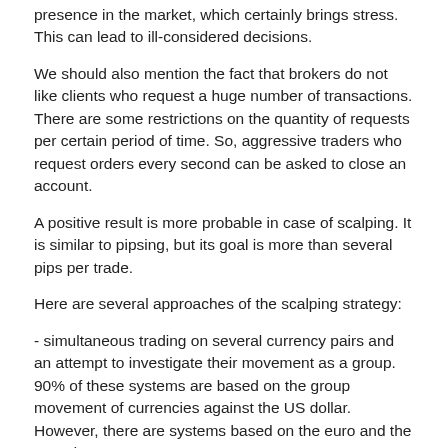presence in the market, which certainly brings stress. This can lead to ill-considered decisions.
We should also mention the fact that brokers do not like clients who request a huge number of transactions. There are some restrictions on the quantity of requests per certain period of time. So, aggressive traders who request orders every second can be asked to close an account.
A positive result is more probable in case of scalping. It is similar to pipsing, but its goal is more than several pips per trade.
Here are several approaches of the scalping strategy:
- simultaneous trading on several currency pairs and an attempt to investigate their movement as a group. 90% of these systems are based on the group movement of currencies against the US dollar. However, there are systems based on the euro and the pound;
- traders choose a driving currency pair and a lingering one. Let's say, EUR/USD is chosen as a signal pair and AUD/USD as a ...